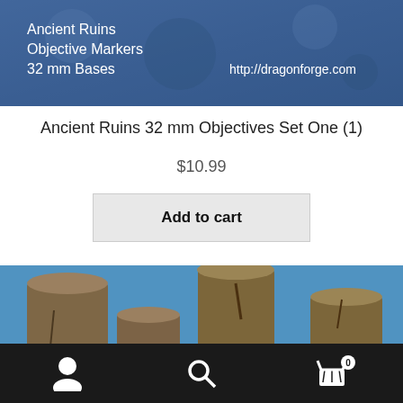[Figure (photo): Product banner image with blue textured background showing text: Ancient Ruins, Objective Markers, 32 mm Bases, http://dragonforge.com]
Ancient Ruins 32 mm Objectives Set One (1)
$10.99
Add to cart
[Figure (photo): Photo of three ancient ruins miniature objective markers on round bases against a blue background]
Navigation bar with user icon, search icon, and cart icon showing 0 items